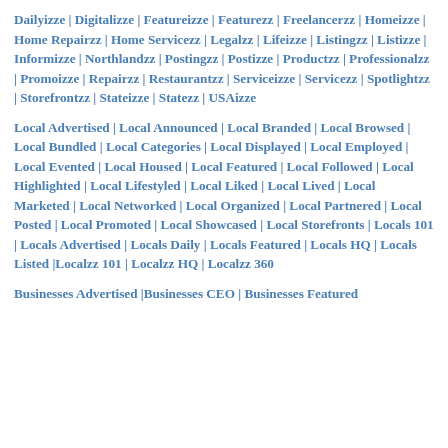Dailyizze | Digitalizze | Featureizze | Featurezz | Freelancerzz | Homeizze | Home Repairzz | Home Servicezz | Legalzz | Lifeizze | Listingzz | Listizze | Informizze | Northlandzz | Postingzz | Postizze | Productzz | Professionalzz | Promoizze | Repairzz | Restaurantzz | Serviceizze | Servicezz | Spotlightzz | Storefrontzz | Stateizze | Statezz | USAizze
Local Advertised | Local Announced | Local Branded | Local Browsed | Local Bundled | Local Categories | Local Displayed | Local Employed | Local Evented | Local Housed | Local Featured | Local Followed | Local Highlighted | Local Lifestyled | Local Liked | Local Lived | Local Marketed | Local Networked | Local Organized | Local Partnered | Local Posted | Local Promoted | Local Showcased | Local Storefronts | Locals 101 | Locals Advertised | Locals Daily | Locals Featured | Locals HQ | Locals Listed |Localzz 101 | Localzz HQ | Localzz 360
Businesses Advertised |Businesses CEO | Businesses Featured